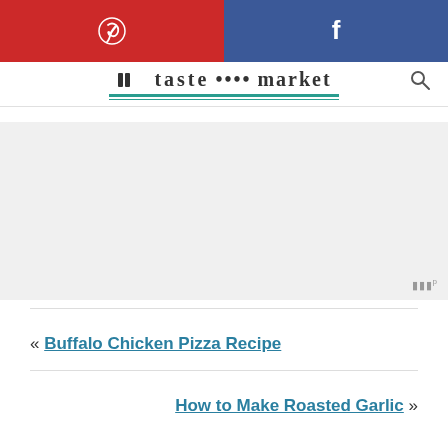[Figure (other): Social share bar with Pinterest (red) and Facebook (blue) buttons]
Taste Market (logo with teal underlines)
[Figure (other): Advertisement/banner area (gray placeholder with Mediavine watermark)]
« Buffalo Chicken Pizza Recipe
How to Make Roasted Garlic »